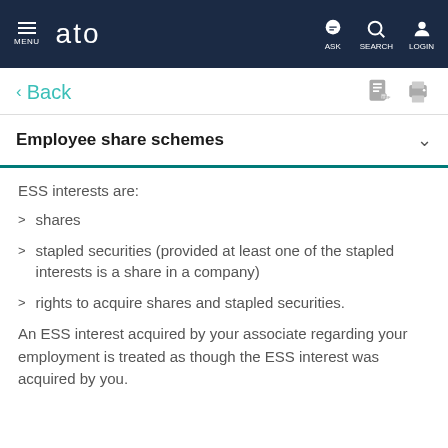MENU  ato  ASK  SEARCH  LOGIN
< Back
Employee share schemes
ESS interests are:
shares
stapled securities (provided at least one of the stapled interests is a share in a company)
rights to acquire shares and stapled securities.
An ESS interest acquired by your associate regarding your employment is treated as though the ESS interest was acquired by you.